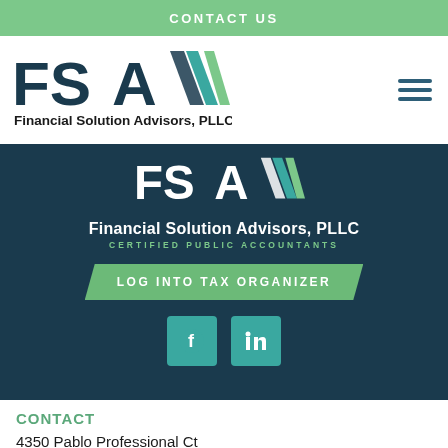CONTACT US
[Figure (logo): FSA Financial Solution Advisors PLLC logo in nav bar (dark teal and green chevrons with FSA text)]
[Figure (logo): FSA Financial Solution Advisors PLLC logo on dark background]
Financial Solution Advisors, PLLC
CERTIFIED PUBLIC ACCOUNTANTS
LOG INTO TAX ORGANIZER
[Figure (illustration): Facebook and LinkedIn social media icon buttons in teal squares]
CONTACT
4350 Pablo Professional Ct